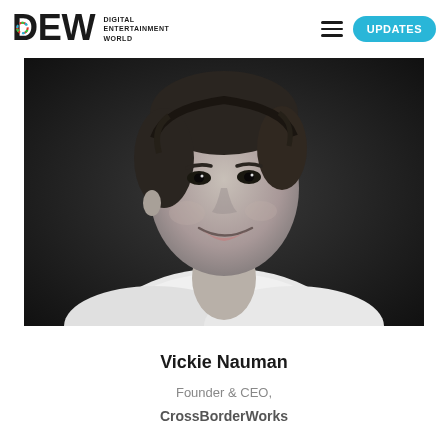DEW Digital Entertainment World — UPDATES
[Figure (photo): Black and white professional headshot of Vickie Nauman, a woman with short dark hair, smiling, wearing a white collared shirt, against a dark background.]
Vickie Nauman
Founder & CEO,
CrossBorderWorks